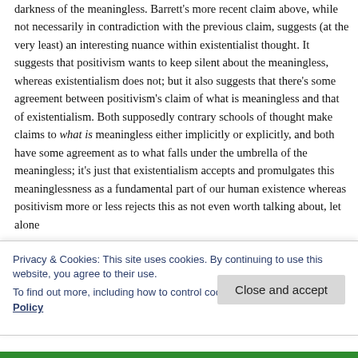darkness of the meaningless. Barrett's more recent claim above, while not necessarily in contradiction with the previous claim, suggests (at the very least) an interesting nuance within existentialist thought.  It suggests that positivism wants to keep silent about the meaningless, whereas existentialism does not; but it also suggests that there's some agreement between positivism's claim of what is meaningless and that of existentialism.  Both supposedly contrary schools of thought make claims to what is meaningless either implicitly or explicitly, and both have some agreement as to what falls under the umbrella of the meaningless; it's just that existentialism accepts and promulgates this meaninglessness as a fundamental part of our human existence whereas positivism more or less rejects this as not even worth talking about, let alone
Privacy & Cookies: This site uses cookies. By continuing to use this website, you agree to their use.
To find out more, including how to control cookies, see here: Cookie Policy